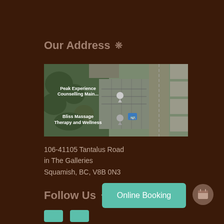Our Address ❊
[Figure (map): Satellite/aerial map view showing Peak Experience Counselling Main... and Bliss Massage Therapy and Wellness locations in Squamish, BC]
106-41105 Tantalus Road
in The Galleries
Squamish, BC, V8B 0N3
Follow Us ❊
Online Booking